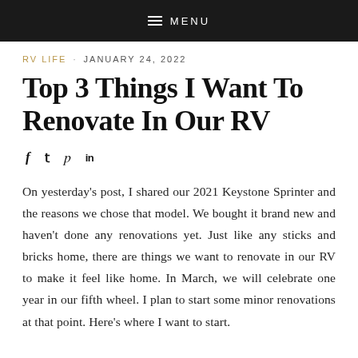MENU
RV LIFE · JANUARY 24, 2022
Top 3 Things I Want To Renovate In Our RV
[Figure (infographic): Social media sharing icons: Facebook (f), Twitter bird, Pinterest (p), LinkedIn (in)]
On yesterday's post, I shared our 2021 Keystone Sprinter and the reasons we chose that model. We bought it brand new and haven't done any renovations yet. Just like any sticks and bricks home, there are things we want to renovate in our RV to make it feel like home. In March, we will celebrate one year in our fifth wheel. I plan to start some minor renovations at that point. Here's where I want to start.